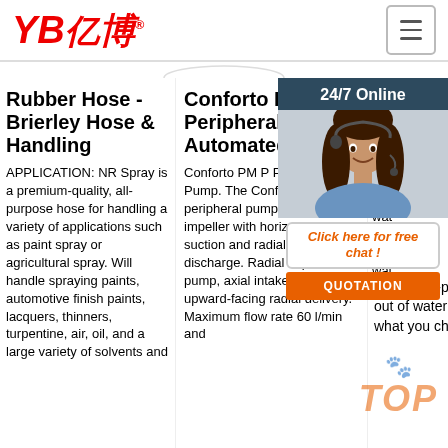[Figure (logo): YB亿博 logo in red italic bold text with registered trademark symbol, and a hamburger menu button on the right]
Rubber Hose - Brierley Hose & Handling
APPLICATION: NR Spray is a premium-quality, all-purpose hose for handling a variety of applications such as paint spray or agricultural spray. Will handle spraying paints, automotive finish paints, lacquers, thinners, turpentine, air, oil, and a large variety of solvents and
Conforto PM P Peripheral Pump - Automated
Conforto PM P Peripheral Pump. The Conforto PM P peripheral pump has a radial impeller with horizontal axial suction and radial top discharge. Radial impeller pump, axial intake and upward-facing radial delivery. Maximum flow rate 60 l/min and
201 3u2 suc allo in a wat you are wat doe
[Figure (photo): Customer service agent photo with 24/7 Online header, Click here for free chat message, and QUOTATION button]
have to re-prime the hose every time you take it out of water other then small burps. No matter what you choose, you'll still need